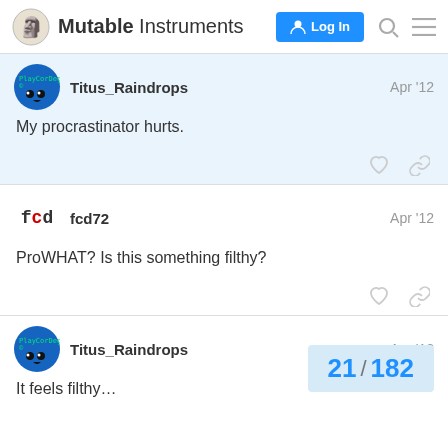Mutable Instruments — Log In
Titus_Raindrops — Apr '12
My procrastinator hurts.
fcd72 — Apr '12
ProWHAT? Is this something filthy?
Titus_Raindrops — Apr '12
It feels filthy…
21 / 182